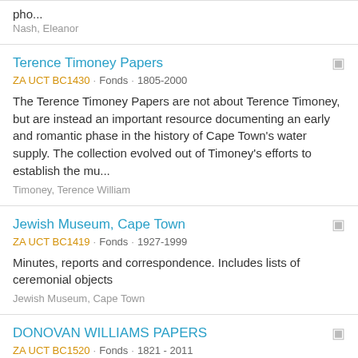pho...
Nash, Eleanor
Terence Timoney Papers
ZA UCT BC1430 · Fonds · 1805-2000
The Terence Timoney Papers are not about Terence Timoney, but are instead an important resource documenting an early and romantic phase in the history of Cape Town's water supply. The collection evolved out of Timoney's efforts to establish the mu...
Timoney, Terence William
Jewish Museum, Cape Town
ZA UCT BC1419 · Fonds · 1927-1999
Minutes, reports and correspondence. Includes lists of ceremonial objects
Jewish Museum, Cape Town
DONOVAN WILLIAMS PAPERS
ZA UCT BC1520 · Fonds · 1821 - 2011
The bulk of the material in this collection concerns the history of the University College of Fort Hare during the troubled period of the late 1950s, when the university was absorbed into the apartheid regime's increasingly polarised and prejudici